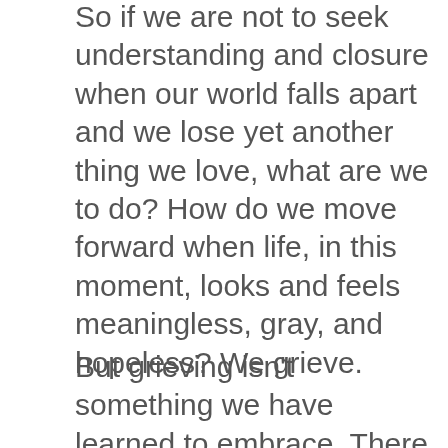So if we are not to seek understanding and closure when our world falls apart and we lose yet another thing we love, what are we to do? How do we move forward when life, in this moment, looks and feels meaningless, gray, and hopeless? We grieve.
But grieving isn't something we have learned to embrace. There are barriers. One of our human tendencies is to detour around grief, away from the mess, to get back to happy as quickly as possible. We want to avoid the experience of discomfort for ourselves